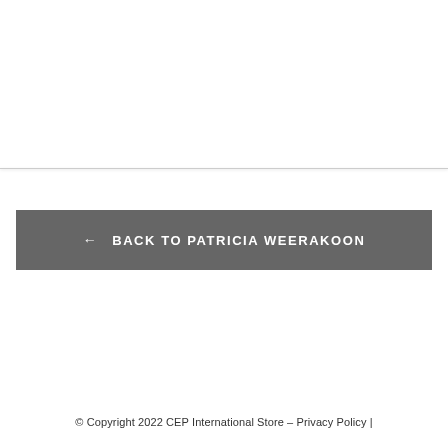← BACK TO PATRICIA WEERAKOON
© Copyright 2022 CEP International Store – Privacy Policy |